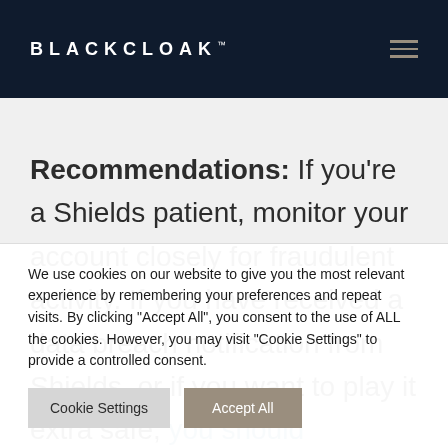BLACKCLOAK™
Recommendations: If you're a Shields patient, monitor your account closely for fraudulent activity. If you have received a data breach notification from Shields, or if you want to play it extra safe, you should
We use cookies on our website to give you the most relevant experience by remembering your preferences and repeat visits. By clicking "Accept All", you consent to the use of ALL the cookies. However, you may visit "Cookie Settings" to provide a controlled consent.